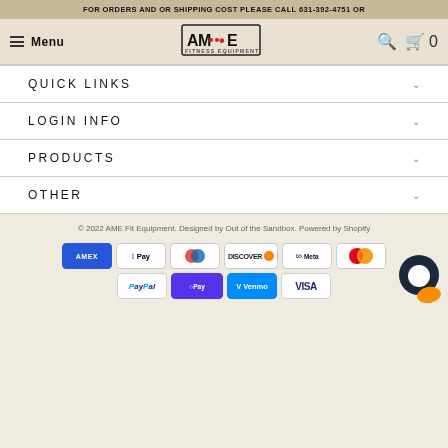FOR ORDERS AND OR SHIPPING COST PLEASE CALL 631-392-4751 OR
Menu | AME FITNESS EQUIPMENT | Search | Cart 0
QUICK LINKS
LOGIN INFO
PRODUCTS
OTHER
© 2022 AME Fit Equipment. Designed by Out of the Sandbox. Powered by Shopify
[Figure (other): Payment method icons: American Express, Apple Pay, Diners Club, Discover, Meta Pay, Mastercard, PayPal, Shop Pay, Venmo, Visa]